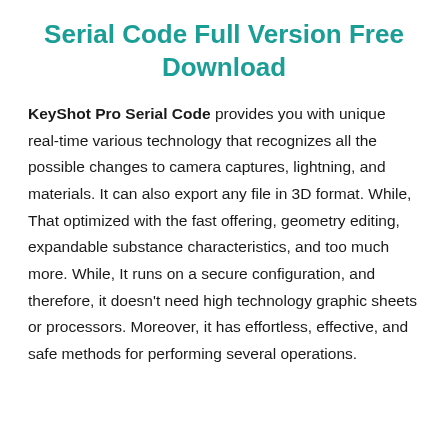Serial Code Full Version Free Download
KeyShot Pro Serial Code provides you with unique real-time various technology that recognizes all the possible changes to camera captures, lightning, and materials. It can also export any file in 3D format. While, That optimized with the fast offering, geometry editing, expandable substance characteristics, and too much more. While, It runs on a secure configuration, and therefore, it doesn't need high technology graphic sheets or processors. Moreover, it has effortless, effective, and safe methods for performing several operations.